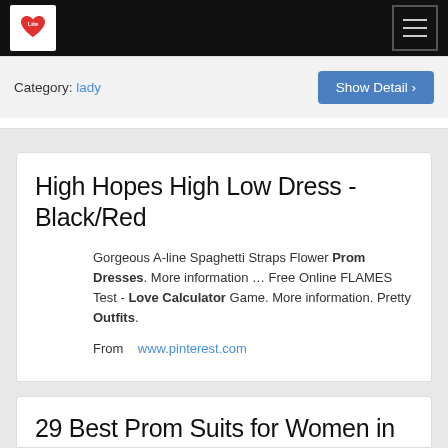Lite [logo] [hamburger menu]
Category: lady  Show Detail ›
High Hopes High Low Dress - Black/Red
Gorgeous A-line Spaghetti Straps Flower Prom Dresses. More information … Free Online FLAMES Test - Love Calculator Game. More information. Pretty Outfits.
From   www.pinterest.com
Category: lady  Show Detail ›
29 Best Prom Suits for Women in